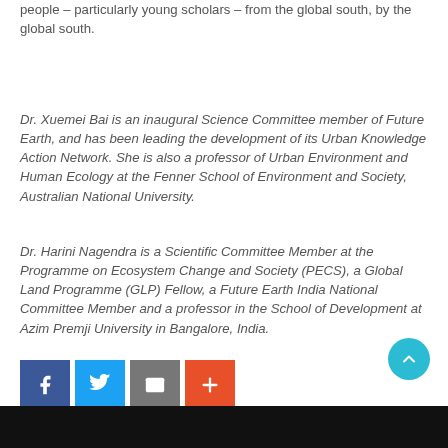people – particularly young scholars – from the global south, by the global south.
Dr. Xuemei Bai is an inaugural Science Committee member of Future Earth, and has been leading the development of its Urban Knowledge Action Network. She is also a professor of Urban Environment and Human Ecology at the Fenner School of Environment and Society, Australian National University.
Dr. Harini Nagendra is a Scientific Committee Member at the Programme on Ecosystem Change and Society (PECS), a Global Land Programme (GLP) Fellow, a Future Earth India National Committee Member and a professor in the School of Development at Azim Premji University in Bangalore, India.
[Figure (infographic): Social sharing buttons: Facebook (blue), Twitter (light blue), Email (gray), More/Plus (orange-red)]
[Figure (other): Scroll-to-top button (teal circle with upward chevron) and black footer bar]